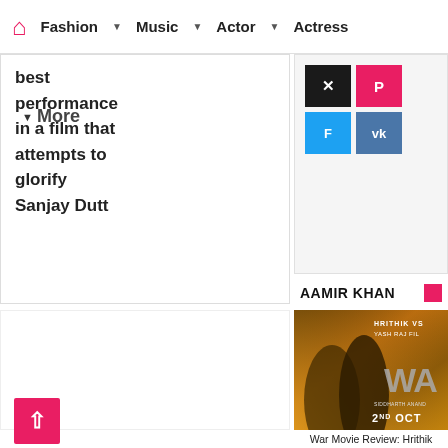Fashion | Music | Actor | Actress
best performance in a film that attempts to glorify Sanjay Dutt
More
[Figure (screenshot): Social media share icons: Twitter/X (black), Pinterest (pink), Foursquare (blue), VK (dark blue)]
AAMIR KHAN
[Figure (photo): War Movie poster showing Hrithik Roshan and Tiger Shroff in action poses. Text reads: HRITHIK VS, YASH RAJ FILMS, WAR, DIRECTED BY SIDDHARTH ANAND, 2ND OCT]
War Movie Review: Hrithik Roshan And Tiger Shroff's Action Entertainer Is Full